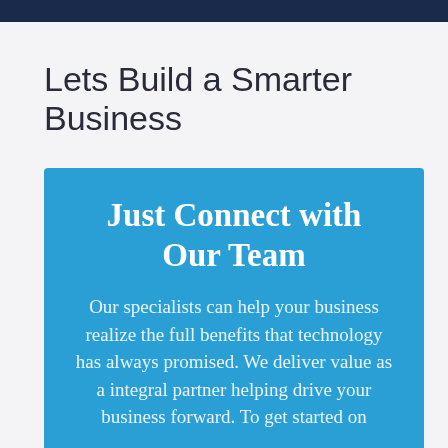Lets Build a Smarter Business
Just Connect with Our Team
Our specialists can help your business realize the full benefits that technology has always promised. We deliver value as a integral partner helping drive your business forward. To get started on